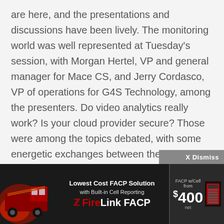are here, and the presentations and discussions have been lively. The monitoring world was well represented at Tuesday's session, with Morgan Hertel, VP and general manager for Mace CS, and Jerry Cordasco, VP of operations for G4S Technology, among the presenters. Do video analytics really work? Is your cloud provider secure? Those were among the topics debated, with some energetic exchanges between the audience and the experts on the dais.

Day Two kicked off with William Rhodes, a market analyst for IMS Research, giving
[Figure (other): Advertisement banner for FireLink FACP — Lowest Cost FACP Solution with Built-in Cell Reporting. Features a fire truck image on the left, the FireLink FACP brand name in center with Notifier Z logo, and a price starting from $400 on the right with product image.]